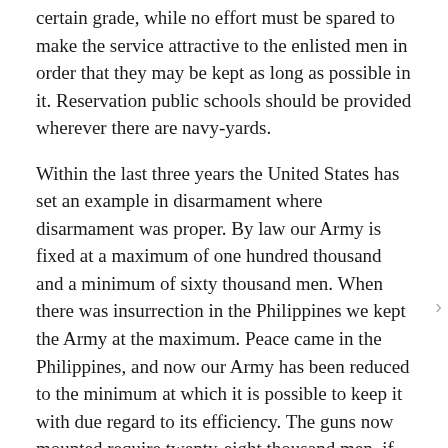certain grade, while no effort must be spared to make the service attractive to the enlisted men in order that they may be kept as long as possible in it. Reservation public schools should be provided wherever there are navy-yards.
Within the last three years the United States has set an example in disarmament where disarmament was proper. By law our Army is fixed at a maximum of one hundred thousand and a minimum of sixty thousand men. When there was insurrection in the Philippines we kept the Army at the maximum. Peace came in the Philippines, and now our Army has been reduced to the minimum at which it is possible to keep it with due regard to its efficiency. The guns now mounted require twenty-eight thousand men, if the coast fortifications are to be adequately manned. Relatively to the Nation, it is not now so large as the police force of New York or Chicago relatively to the population of either city. We need more officers; there are not enough to perform the regular army work. It is very important that the officers of the Army should be accustomed to handle their men in masses, as it is also important that the National Guard of the several States should be accustomed to actual field maneuvering, especially in connection with the regular army. For this purpose our recent army maneuvers have been